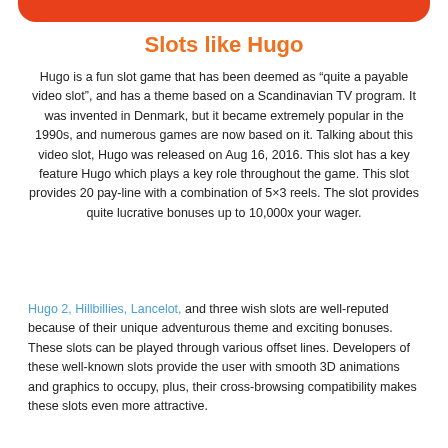[Figure (other): Orange/red rounded banner at the top of the page]
Slots like Hugo
Hugo is a fun slot game that has been deemed as “quite a payable video slot”, and has a theme based on a Scandinavian TV program. It was invented in Denmark, but it became extremely popular in the 1990s, and numerous games are now based on it. Talking about this video slot, Hugo was released on Aug 16, 2016. This slot has a key feature Hugo which plays a key role throughout the game. This slot provides 20 pay-line with a combination of 5×3 reels. The slot provides quite lucrative bonuses up to 10,000x your wager.
Hugo 2, Hillbillies, Lancelot, and three wish slots are well-reputed because of their unique adventurous theme and exciting bonuses. These slots can be played through various offset lines. Developers of these well-known slots provide the user with smooth 3D animations and graphics to occupy, plus, their cross-browsing compatibility makes these slots even more attractive.